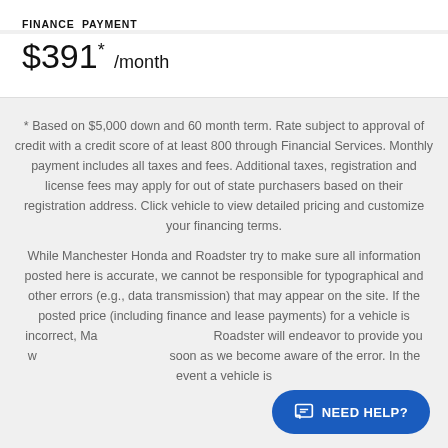FINANCE PAYMENT
$391* /month
* Based on $5,000 down and 60 month term. Rate subject to approval of credit with a credit score of at least 800 through Financial Services. Monthly payment includes all taxes and fees. Additional taxes, registration and license fees may apply for out of state purchasers based on their registration address. Click vehicle to view detailed pricing and customize your financing terms.
While Manchester Honda and Roadster try to make sure all information posted here is accurate, we cannot be responsible for typographical and other errors (e.g., data transmission) that may appear on the site. If the posted price (including finance and lease payments) for a vehicle is incorrect, Manchester Honda and Roadster will endeavor to provide you with the correct prices as soon as we become aware of the error. In the event a vehicle is